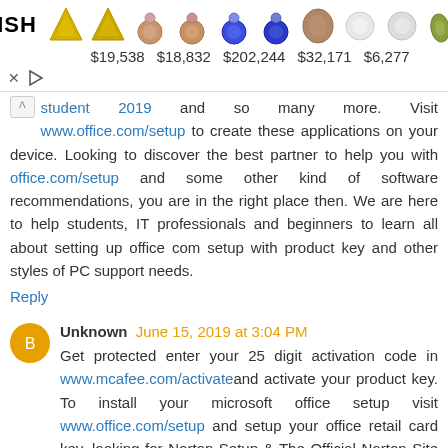[Figure (other): Leibish jewelry advertisement banner showing gem earrings with prices: $19,538, $18,832, $202,244, $32,171, $6,277]
student 2019 and so many more. Visit www.office.com/setup to create these applications on your device. Looking to discover the best partner to help you with office.com/setup and some other kind of software recommendations, you are in the right place then. We are here to help students, IT professionals and beginners to learn all about setting up office com setup with product key and other styles of PC support needs.
Reply
Unknown June 15, 2019 at 3:04 PM
Get protected enter your 25 digit activation code in www.mcafee.com/activate and activate your product key. To install your microsoft office setup visit www.office.com/setup and setup your office retail card key. looking for Norton Setup & The Official Norton Site for...